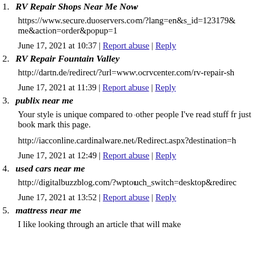1. RV Repair Shops Near Me Now
https://www.secure.duoservers.com/?lang=en&s_id=123179&me&action=order&popup=1
June 17, 2021 at 10:37 | Report abuse | Reply
2. RV Repair Fountain Valley
http://dartn.de/redirect/?url=www.ocrvcenter.com/rv-repair-sh
June 17, 2021 at 11:39 | Report abuse | Reply
3. publix near me
Your style is unique compared to other people I've read stuff fr just book mark this page.
http://iacconline.cardinalware.net/Redirect.aspx?destination=h
June 17, 2021 at 12:49 | Report abuse | Reply
4. used cars near me
http://digitalbuzzblog.com/?wptouch_switch=desktop&redirec
June 17, 2021 at 13:52 | Report abuse | Reply
5. mattress near me
I like looking through an article that will make...